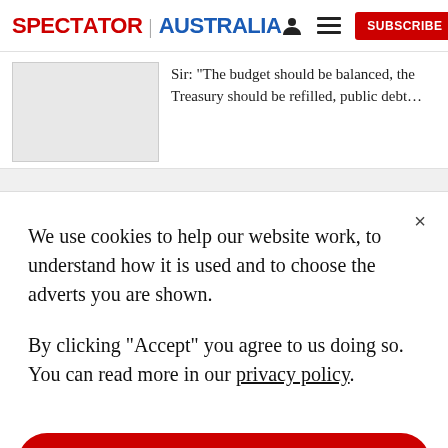SPECTATOR | AUSTRALIA
Sir: “The budget should be balanced, the Treasury should be refilled, public debt…
We use cookies to help our website work, to understand how it is used and to choose the adverts you are shown.

By clicking "Accept" you agree to us doing so. You can read more in our privacy policy.
Accept